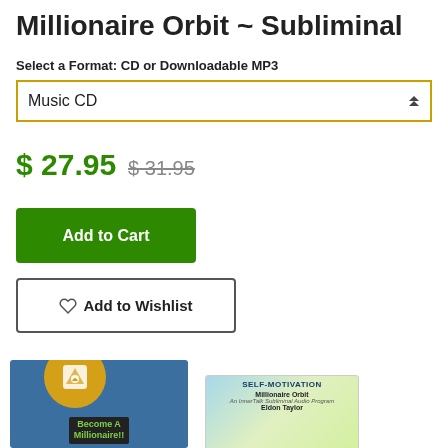Millionaire Orbit ~ Subliminal
Select a Format: CD or Downloadable MP3
Music CD
$ 27.95  $ 31.95
Add to Cart
♡ Add to Wishlist
[Figure (photo): Product image showing 'Become A Millionaire!!' book/product with shopping bag badge overlay]
[Figure (photo): Product image showing 'Self-Motivation Millionaire Orbit' audio program by Eldon Taylor]